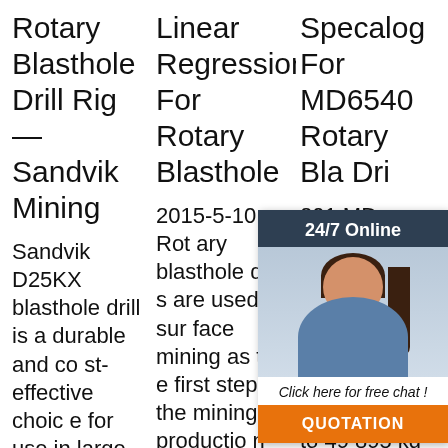Rotary Blasthole Drill Rig — Sandvik Mining
Sandvik D25KX blasthole drill is a durable and cost-effective choice for use in large quarries, and in gold and other metal mines. The drill is ideal for mining contractors, with easy transp
Linear Regression For Rotary Blasthole
2015-5-10 · Rotary blasthole drills are used in surface mining as the first step in the mining production process. The potential performance of a given rotary blasthole drill is defined by its technical specific
Specalog For MD6540 Rotary Bla Dri
201 MD mou e dr o dr mm eter holes depending on applicati on with rated pull down capacity up to 49 895 kg (1
[Figure (other): Customer service widget overlay: dark header '24/7 Online', photo of woman with headset, italic text 'Click here for free chat!', orange button 'QUOTATION']